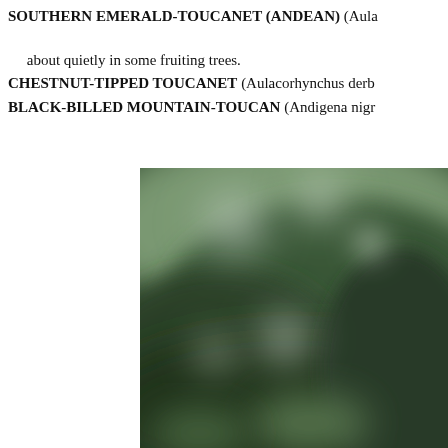SOUTHERN EMERALD-TOUCANET (ANDEAN) (Aulacorhynchus [albivitta] grp) – about quietly in some fruiting trees. CHESTNUT-TIPPED TOUCANET (Aulacorhynchus derb…) BLACK-BILLED MOUNTAIN-TOUCAN (Andigena nigr…)
[Figure (photo): A blurred/bokeh nature photograph showing predominantly dark green foliage with soft white circular bokeh highlights in the upper portion, suggesting a forested canopy environment. The image is heavily blurred with no sharp subjects visible.]